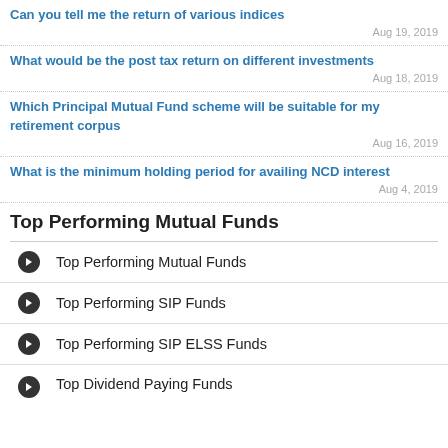Can you tell me the return of various indices
Aug 19, 2019
What would be the post tax return on different investments
Aug 18, 2019
Which Principal Mutual Fund scheme will be suitable for my retirement corpus
Aug 16, 2019
What is the minimum holding period for availing NCD interest
Aug 4, 2019
Top Performing Mutual Funds
Top Performing Mutual Funds
Top Performing SIP Funds
Top Performing SIP ELSS Funds
Top Dividend Paying Funds